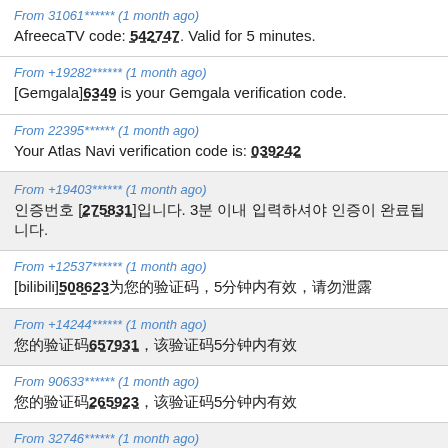From 31061****** (1 month ago)
AfreecaTV code: 542747. Valid for 5 minutes.
From +19282****** (1 month ago)
[Gemgala]6349 is your Gemgala verification code.
From 22395****** (1 month ago)
Your Atlas Navi verification code is: 039242
From +19403****** (1 month ago)
인증번호 [275831]입니다. 3분 이내 입력하셔야 인증이 완료됩니다.
From +12537****** (1 month ago)
[bilibili]508623为您的验证码，5分钟内有效，请勿泄露
From +14244****** (1 month ago)
您的验证码657931，该验证码5分钟内有效
From 90633****** (1 month ago)
您的验证码265923，该验证码5分钟内有效
From 32746****** (1 month ago)